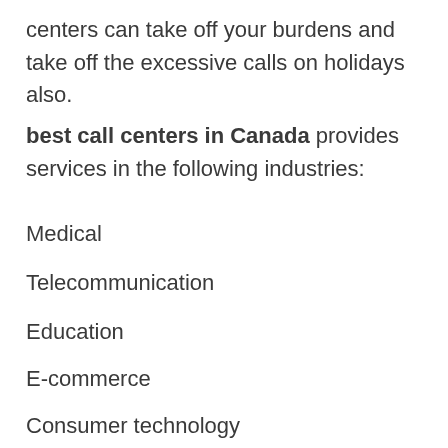centers can take off your burdens and take off the excessive calls on holidays also.
best call centers in Canada provides services in the following industries:
Medical
Telecommunication
Education
E-commerce
Consumer technology
The salary in the call center Canada is $33,175 per